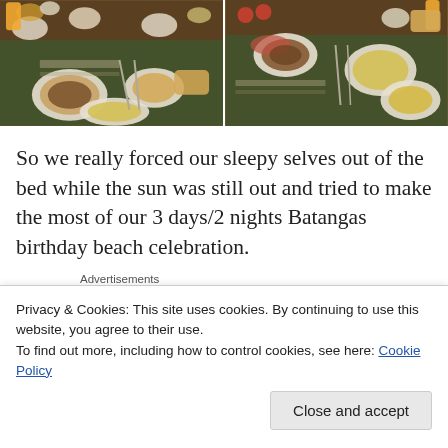[Figure (photo): Two side-by-side photos of a breakfast spread on a table with plates of food, juice, coffee cups — a birthday beach trip meal.]
So we really forced our sleepy selves out of the bed while the sun was still out and tried to make the most of our 3 days/2 nights Batangas birthday beach celebration.
Advertisements
[Figure (logo): AUTOMATTIC logo with tagline 'Build a better web and a better world']
Privacy & Cookies: This site uses cookies. By continuing to use this website, you agree to their use.
To find out more, including how to control cookies, see here: Cookie Policy
[Figure (photo): Bottom portion of a photo, partially visible — outdoor scene with greenery.]